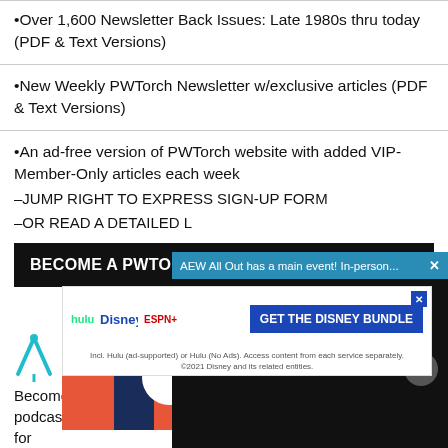•Over 1,600 Newsletter Back Issues: Late 1980s thru today (PDF & Text Versions)
•New Weekly PWTorch Newsletter w/exclusive articles (PDF & Text Versions)
•An ad-free version of PWTorch website with added VIP-Member-Only articles each week
–JUMP RIGHT TO EXPRESS SIGN-UP FORM
–OR READ A DETAILED L
BECOME A PWTORCH
[Figure (screenshot): Video overlay popup with blue header bar reading 'AEW All Out has a main event! In-person...' with a close X button, dark background, yellow mute button, and gray close circle button.]
[Figure (screenshot): Disney Bundle advertisement with Hulu, Disney+, ESPN+ logos and 'GET THE DISNEY BUNDLE' button in blue. Fine print: Incl. Hulu (ad-supported) or Hulu (No Ads). Access content from each service separately. ©2021 Disney and its related entities.]
Become a PWTorch Patreon Supporter and get all of our free podcasts (WKPWPs & Dailycasts) with ads and plugs removed for